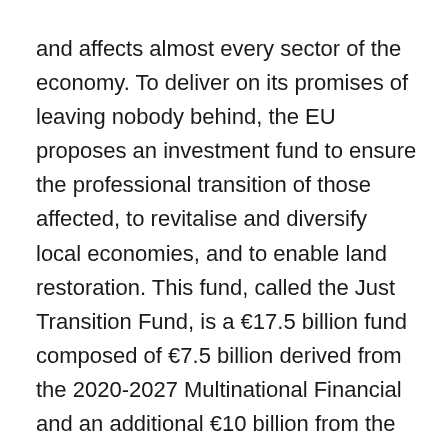and affects almost every sector of the economy. To deliver on its promises of leaving nobody behind, the EU proposes an investment fund to ensure the professional transition of those affected, to revitalise and diversify local economies, and to enable land restoration. This fund, called the Just Transition Fund, is a €17.5 billion fund composed of €7.5 billion derived from the 2020-2027 Multinational Financial and an additional €10 billion from the EU Recovery Plan. This fund is expected to mobilise closer to €30 billion in investments.
The allocation of funds is determined using a combination of social (employment in mining